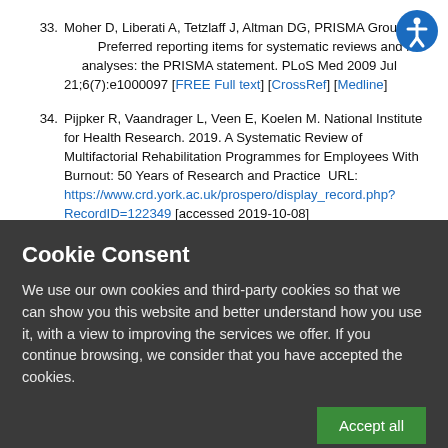33. Moher D, Liberati A, Tetzlaff J, Altman DG, PRISMA Group. Preferred reporting items for systematic reviews and meta-analyses: the PRISMA statement. PLoS Med 2009 Jul 21;6(7):e1000097 [FREE Full text] [CrossRef] [Medline]
34. Pijpker R, Vaandrager L, Veen E, Koelen M. National Institute for Health Research. 2019. A Systematic Review of Multifactorial Rehabilitation Programmes for Employees With Burnout: 50 Years of Research and Practice  URL: https://www.crd.york.ac.uk/prospero/display_record.php?RecordID=122349 [accessed 2019-10-08]
35. Keats PA. Multiple text analysis in narrative research: visual, written, and spoken stories of experience. Qual Res...
Cookie Consent
We use our own cookies and third-party cookies so that we can show you this website and better understand how you use it, with a view to improving the services we offer. If you continue browsing, we consider that you have accepted the cookies.